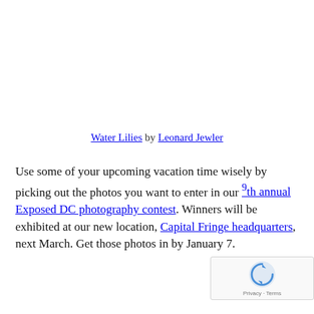Water Lilies by Leonard Jewler
Use some of your upcoming vacation time wisely by picking out the photos you want to enter in our 9th annual Exposed DC photography contest. Winners will be exhibited at our new location, Capital Fringe headquarters, next March. Get those photos in by January 7.